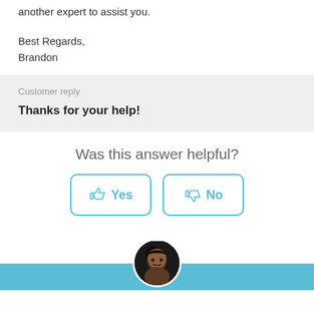another expert to assist you.
Best Regards,
Brandon
Customer reply
Thanks for your help!
Was this answer helpful?
[Figure (other): Yes and No feedback buttons with thumbs up and thumbs down icons, styled with teal border]
[Figure (photo): Circular avatar photo of a person, partially overlapping a teal footer bar]